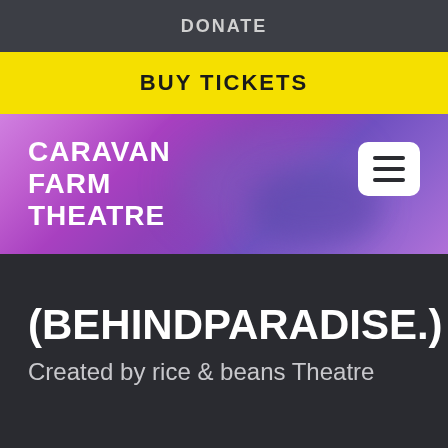DONATE
BUY TICKETS
[Figure (logo): Caravan Farm Theatre logo with purple background banner and hamburger menu button]
(BEHINDPARADISE.)
Created by rice & beans Theatre